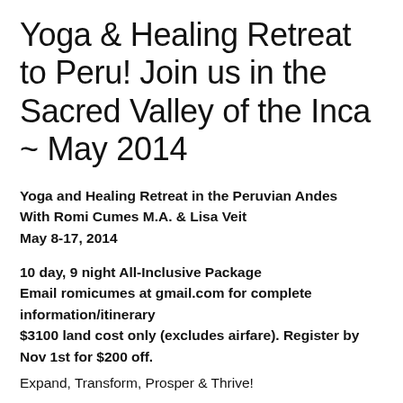Yoga & Healing Retreat to Peru! Join us in the Sacred Valley of the Inca ~ May 2014
Yoga and Healing Retreat in the Peruvian Andes
With Romi Cumes M.A. & Lisa Veit
May 8-17, 2014
10 day, 9 night All-Inclusive Package
Email romicumes at gmail.com for complete information/itinerary
$3100 land cost only (excludes airfare). Register by Nov 1st for $200 off.
Expand, Transform, Prosper & Thrive!
Join Romi Cumes and